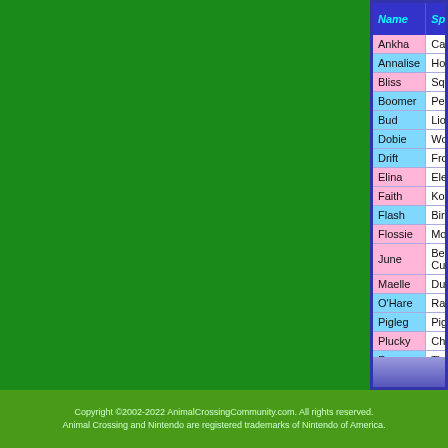| Name | Species | Fruit Allergy |
| --- | --- | --- |
| Ankha | Cat | Apples |
| Annalise | Horse | Oranges |
| Bliss | Squirrel | Oranges |
| Boomer | Penguin | Cherries |
| Bud | Lion | Peaches |
| Dobie | Wolf | Cherries |
| Drift | Frog | Apples |
| Elina | Elephant | Apples |
| Faith | Koala | Pears |
| Flash | Bird | Peaches |
| Flossie | Mouse | Oranges |
| June | Bear Cub | Pears |
| Maelle | Duck | Oranges |
| O'Hare | Rabbit | Peaches |
| Pigleg | Pig | Peaches |
| Plucky | Chicken | Cherries |
| Rowan | Tiger | Pears |
| Yodel | Gorilla | Cherries |
Copyright ©2002-2022 AnimalCrossingCommunity.com. All rights reserved. Animal Crossing and Nintendo are registered trademarks of Nintendo of America.